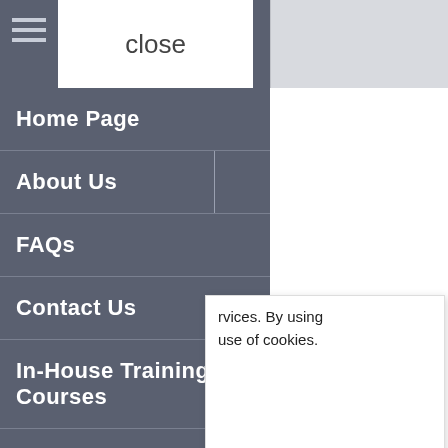[Figure (screenshot): Navigation menu panel with hamburger icon and close button at top, followed by menu items: Home Page, About Us, FAQs, Contact Us, In-House Training Courses, Other Shaw Trust Services. Right side shows partial white content area with cookie notice overlay.]
Home Page
About Us
FAQs
Contact Us
In-House Training Courses
Other Shaw Trust Services
rvices. By using use of cookies.